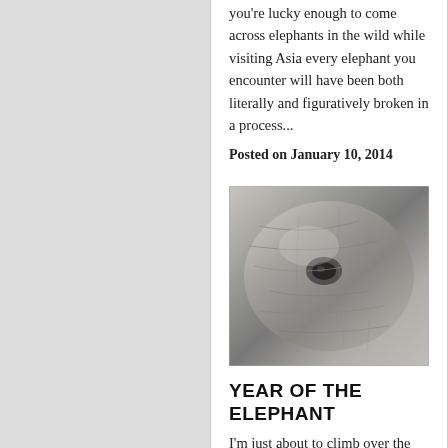you're lucky enough to come across elephants in the wild while visiting Asia every elephant you encounter will have been both literally and figuratively broken in a process...
Posted on January 10, 2014
[Figure (photo): Close-up black and white photograph of an elephant's face/eye area showing wrinkled skin texture]
YEAR OF THE ELEPHANT
I'm just about to climb over the top of the gate and into the elephant barn to join Lek Chailert as she softly sings lullabies to Faa Mai